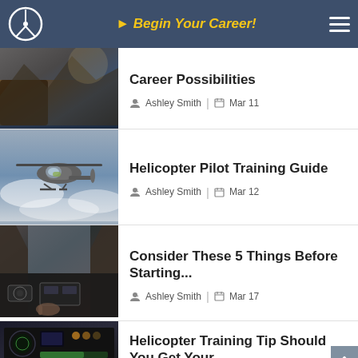Begin Your Career!
Career Possibilities
Ashley Smith | Mar 11
Helicopter Pilot Training Guide
Ashley Smith | Mar 12
Consider These 5 Things Before Starting...
Ashley Smith | Mar 17
Helicopter Training Tip Should You Get Your...